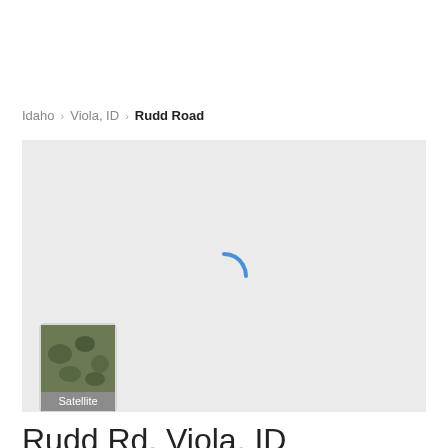Idaho › Viola, ID › Rudd Road
[Figure (screenshot): Loading map view of Rudd Road, Viola, ID. Gray background with a blue spinner/loading indicator in the center. A satellite map thumbnail in the lower-left corner labeled 'Satellite'.]
Rudd Rd, Viola, ID